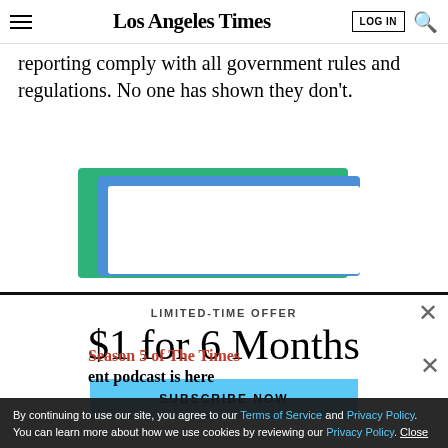Los Angeles Times — LOG IN | Search
reporting comply with all government rules and regulations. No one has shown they don't.
[Figure (illustration): Promotional subscription card graphic with green and blue layered rectangles on white background]
LIMITED-TIME OFFER
$1 for 6 Months
SUBSCRIBE NOW
Season 5 of The Times entertainment podcast is here
By continuing to use our site, you agree to our Terms of Service and Privacy Policy. You can learn more about how we use cookies by reviewing our Privacy Policy. | Close